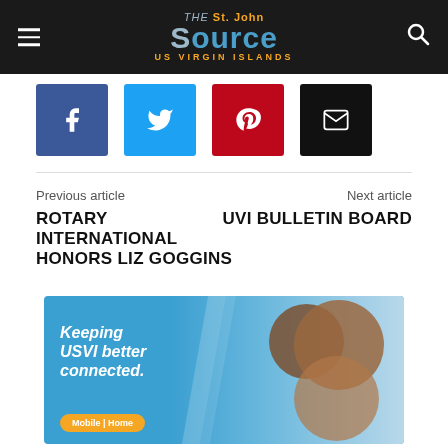The St. John Source — US Virgin Islands
[Figure (other): Social share buttons: Facebook (blue), Twitter (light blue), Pinterest (red), Email (black)]
Previous article
ROTARY INTERNATIONAL HONORS LIZ GOGGINS
Next article
UVI BULLETIN BOARD
[Figure (infographic): Advertisement banner: blue background with diagonal swoosh, text reading 'Keeping USVI better connected.' with orange 'Mobile | Home' button, and photo of woman and child laughing]